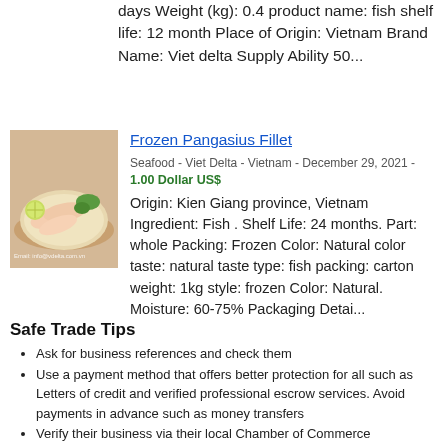days Weight (kg): 0.4 product name: fish shelf life: 12 month Place of Origin: Vietnam Brand Name: Viet delta Supply Ability 50...
Frozen Pangasius Fillet
Seafood - Viet Delta - Vietnam - December 29, 2021 - 1.00 Dollar US$
[Figure (photo): Photo of frozen pangasius fish fillet on a plate with garnish, with email watermark info@vdelta.com.vn]
Origin: Kien Giang province, Vietnam Ingredient: Fish . Shelf Life: 24 months. Part: whole Packing: Frozen Color: Natural color taste: natural taste type: fish packing: carton weight: 1kg style: frozen Color: Natural. Moisture: 60-75% Packaging Detai...
Safe Trade Tips
Ask for business references and check them
Use a payment method that offers better protection for all such as Letters of credit and verified professional escrow services. Avoid payments in advance such as money transfers
Verify their business via their local Chamber of Commerce
Search the internet using their website address, their business name,